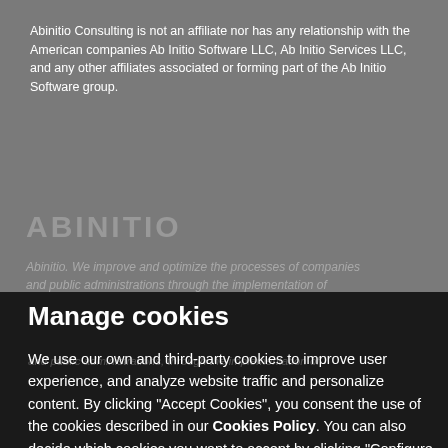Abinitio Consulting is not an affiliate nor has any relationship with the American companies Ab Initio Software LLC, Ab Initio Services LLC, and any other affiliates associated or forming part of the Ab Initio Software group.
Manage cookies
We use our own and third-party cookies to improve user experience, and analyze website traffic and personalize content. By clicking "Accept Cookies", you consent the use of the cookies described in our Cookies Policy. You can also decide which cookies you want to accept by clicking "Configure cookies".
Accept all cookies
Configure cookies